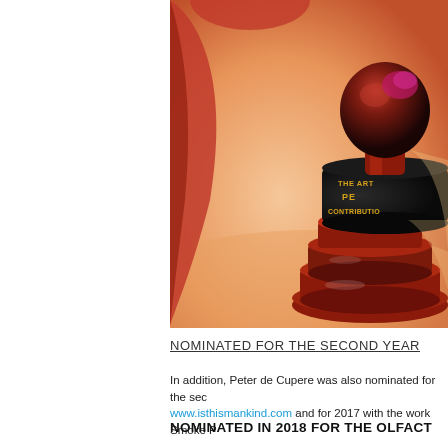[Figure (photo): Close-up photo of a dark red/black award trophy with text 'THE ART... PE... CONTRIBUTIO...' in gold letters on the black band, on a warm orange-toned surface]
NOMINATED FOR THE SECOND YEAR
In addition, Peter de Cupere was also nominated for the sec... www.isthismankind.com and for 2017 with the work Smoke P...
NOMINATED IN 2018 FOR THE OLFACT...